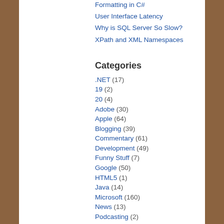Formatting in C#
User Interface Latency
Why is SQL Server So Slow?
XPath and XML Namespaces
Categories
.NET (17)
19 (2)
20 (4)
Adobe (30)
Apple (64)
Blogging (39)
Commentary (61)
Development (49)
Funny Stuff (7)
Google (50)
HTML5 (1)
Java (14)
Microsoft (160)
News (13)
Podcasting (2)
Reviews (9)
SNL (4)
Toys (8)
Uncategorized (531)